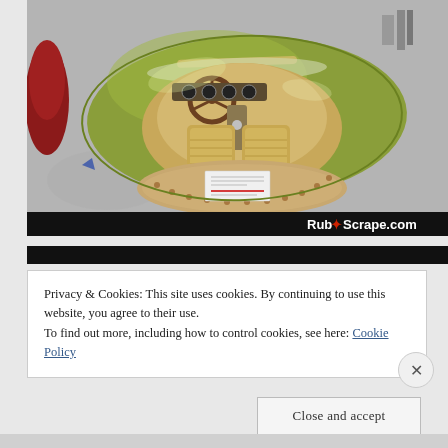[Figure (photo): Aerial/top-down view of a vintage green sports car (Porsche 356 style) showing the open cockpit with tan leather interior, wooden steering wheel, dashboard with gauges, and a beige convertible soft top folded down. A paper notice is visible on the rear deck. The car is in an indoor garage setting with concrete floor. A red car is partially visible at left. The image has a black bar at the bottom with 'Rub+Scrape.com' watermark text.]
Privacy & Cookies: This site uses cookies. By continuing to use this website, you agree to their use.
To find out more, including how to control cookies, see here: Cookie Policy